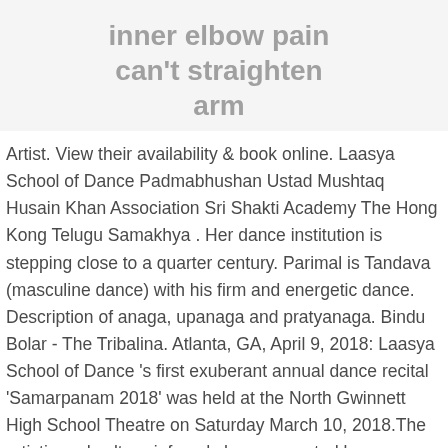inner elbow pain can't straighten arm
Artist. View their availability & book online. Laasya School of Dance Padmabhushan Ustad Mushtaq Husain Khan Association Sri Shakti Academy The Hong Kong Telugu Samakhya . Her dance institution is stepping close to a quarter century. Parimal is Tandava (masculine dance) with his firm and energetic dance. Description of anaga, upanaga and pratyanaga. Bindu Bolar - The Tribalina. Atlanta, GA, April 9, 2018: Laasya School of Dance 's first exuberant annual dance recital 'Samarpanam 2018' was held at the North Gwinnett High School Theatre on Saturday March 10, 2018.The artistic and culture-infused show presented by founder/artistic director and choreographer Sridevi Ranjit had imaginatively choreographed a ... Dance . Laasya Dance Academy LLC is a California Domestic Limited-Liability Company filed on October 9, ...